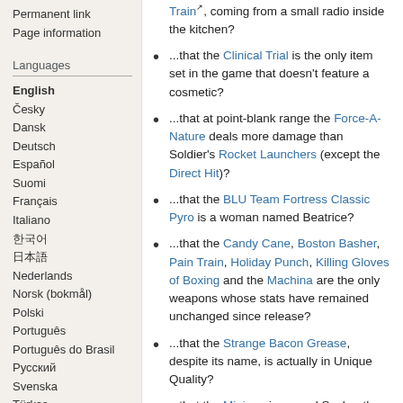Permanent link (partial, top cut off)
Page information
Languages
English
Česky
Dansk
Deutsch
Español
Suomi
Français
Italiano
한국어
日本語
Nederlands
Norsk (bokmål)
Polski
Português
Português do Brasil
Русский
Svenska
Türkçe
中文(简体)
中文(繁體)
...that the Clinical Trial is the only item set in the game that doesn't feature a cosmetic?
...that at point-blank range the Force-A-Nature deals more damage than Soldier's Rocket Launchers (except the Direct Hit)?
...that the BLU Team Fortress Classic Pyro is a woman named Beatrice?
...that the Candy Cane, Boston Basher, Pain Train, Holiday Punch, Killing Gloves of Boxing and the Machina are the only weapons whose stats have remained unchanged since release?
...that the Strange Bacon Grease, despite its name, is actually in Unique Quality?
...that the Minigun is named Sasha, the Brass Beast is named Oksana, the Huo- (cut off)